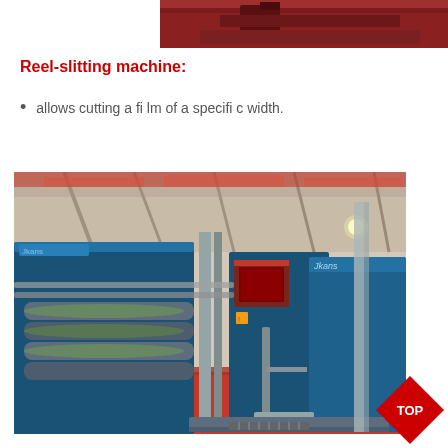[Figure (photo): Top portion of a machine with red/dark background, partially visible]
Reel-slitting machine:
allows cutting a film of a specific width.
[Figure (photo): Industrial reel-slitting machine in blue color inside a factory with red floor, showing rollers and mechanical components. Brand marking visible on the right unit.]
[Figure (logo): Red diamond-shaped TOP button/badge in lower right corner]